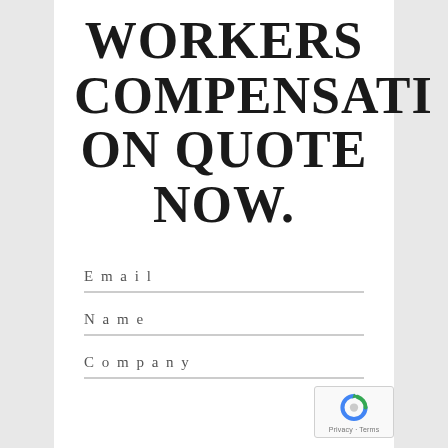WORKERS COMPENSATION QUOTE NOW.
Email
Name
Company